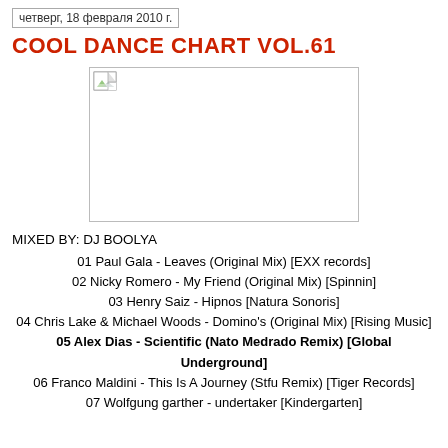четверг, 18 февраля 2010 г.
COOL DANCE CHART VOL.61
[Figure (photo): Broken/missing image placeholder with small broken image icon in top-left corner, bordered rectangle]
MIXED BY: DJ BOOLYA
01 Paul Gala - Leaves (Original Mix) [EXX records]
02 Nicky Romero - My Friend (Original Mix) [Spinnin]
03 Henry Saiz - Hipnos [Natura Sonoris]
04 Chris Lake & Michael Woods - Domino's (Original Mix) [Rising Music]
05 Alex Dias - Scientific (Nato Medrado Remix) [Global Underground]
06 Franco Maldini - This Is A Journey (Stfu Remix) [Tiger Records]
07 Wolfgung garther - undertaker [Kindergarten]